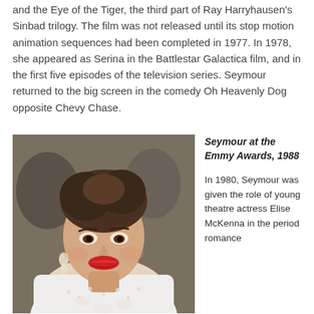and the Eye of the Tiger, the third part of Ray Harryhausen's Sinbad trilogy. The film was not released until its stop motion animation sequences had been completed in 1977. In 1978, she appeared as Serina in the Battlestar Galactica film, and in the first five episodes of the television series. Seymour returned to the big screen in the comedy Oh Heavenly Dog opposite Chevy Chase.
[Figure (photo): Photo of Jane Seymour at the Emmy Awards, 1988. She is wearing a white beaded dress, has dark hair styled up, and is smiling.]
Seymour at the Emmy Awards, 1988
In 1980, Seymour was given the role of young theatre actress Elise McKenna in the period romance